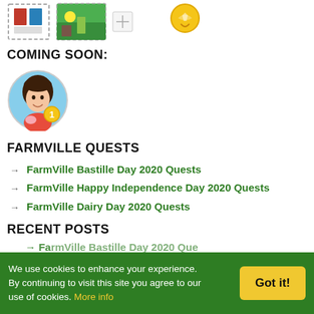[Figure (illustration): Row of game item icons: stamp/book icon, green farm landscape icon, small image link icon, and a gold badge/medal icon]
COMING SOON:
[Figure (illustration): Circular avatar of a cartoon woman with dark hair, holding a pig, with a number 1 badge, on a light blue background]
FARMVILLE QUESTS
FarmVille Bastille Day 2020 Quests
FarmVille Happy Independence Day 2020 Quests
FarmVille Dairy Day 2020 Quests
RECENT POSTS
FarmVille Bastille Day 2020 Quests (partially visible)
We use cookies to enhance your experience. By continuing to visit this site you agree to our use of cookies. More info